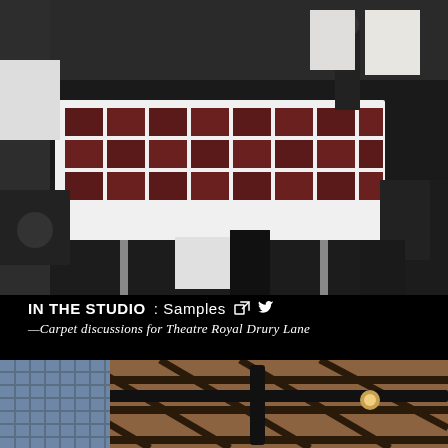[Figure (photo): Interior studio/office space with a large table covered in dark red and white carpet samples arranged in a grid pattern, surrounded by black chairs. A person stands in the background near what appears to be architectural drawings on the wall.]
IN THE STUDIO: Samples
—Carpet discussions for Theatre Royal Drury Lane
[Figure (photo): Interior architectural space showing a wooden coffered ceiling with diagonal grid beams, black structural elements/lighting tracks, and tall windows with grid patterns letting in natural light.]